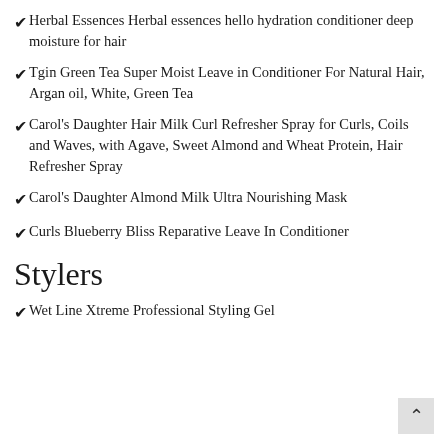Herbal Essences Herbal essences hello hydration conditioner deep moisture for hair
Tgin Green Tea Super Moist Leave in Conditioner For Natural Hair, Argan oil, White, Green Tea
Carol’s Daughter Hair Milk Curl Refresher Spray for Curls, Coils and Waves, with Agave, Sweet Almond and Wheat Protein, Hair Refresher Spray
Carol’s Daughter Almond Milk Ultra Nourishing Mask
Curls Blueberry Bliss Reparative Leave In Conditioner
Stylers
Wet Line Xtreme Professional Styling Gel